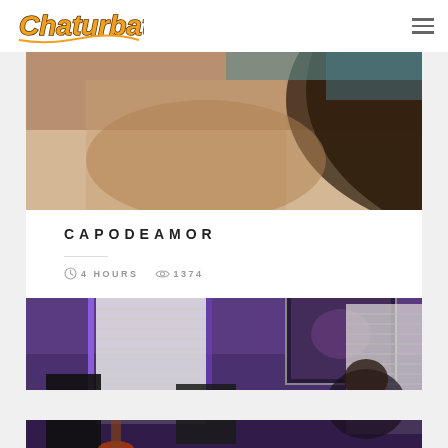Chaturbate
[Figure (photo): Blurry close-up photo used as stream thumbnail for user CAPODEAMOR]
CAPODEAMOR
4 HOURS  1374
[Figure (photo): Room with purple/blue LED lighting, window with blinds, framed artwork on wall, person sitting in front of monitors]